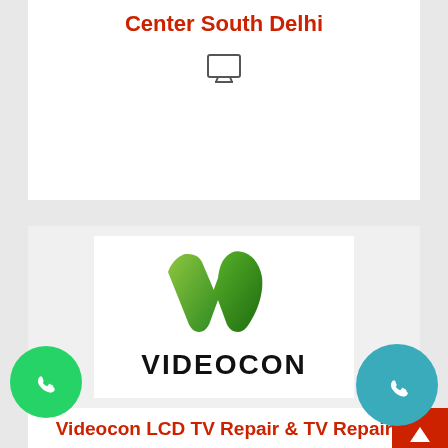Center South Delhi
[Figure (other): Monitor/TV icon (outline of a desktop display)]
[Figure (logo): Videocon logo: green V-shaped checkmark icon above bold black VIDEOCON wordmark]
Videocon LCD TV Repair & TV Repair Center South Delhi
[Figure (other): Monitor/TV icon (outline of a desktop display)]
[Figure (other): Scroll-to-top button (red square with white up arrow)]
[Figure (other): WhatsApp button (green circle with white phone handset icon)]
[Figure (other): Call button (teal circle with white phone handset icon)]